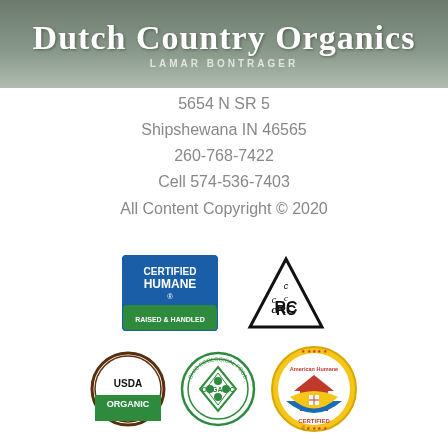Dutch Country Organics
LAMAR BONTRAGER
5654 N SR 5
Shipshewana IN 46565
260-768-7422
Cell 574-536-7403
All Content Copyright © 2020
[Figure (logo): Certified Humane Raised & Handled badge (blue/green rectangular logo)]
[Figure (logo): CRC (Kosher) triangle certification logo]
[Figure (logo): USDA Organic circular logo (brown/green)]
[Figure (logo): OTCO Organic certification circular seal]
[Figure (logo): American Humane Certified circular badge (gold/red/blue)]
CA SEFS COMPLIANT